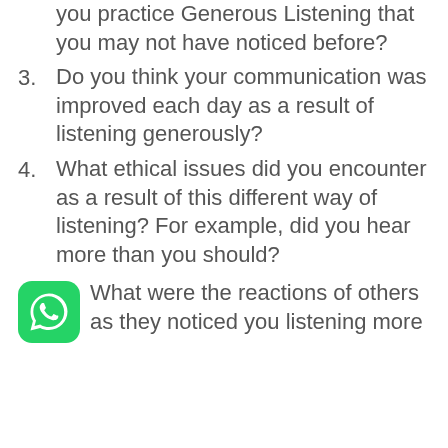you practice Generous Listening that you may not have noticed before?
3. Do you think your communication was improved each day as a result of listening generously?
4. What ethical issues did you encounter as a result of this different way of listening? For example, did you hear more than you should?
What were the reactions of others as they noticed you listening more